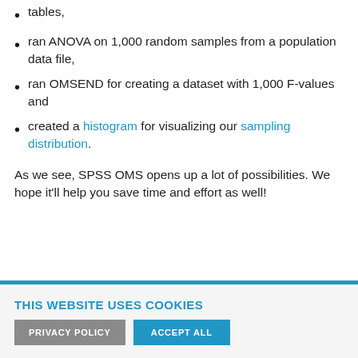tables,
ran ANOVA on 1,000 random samples from a population data file,
ran OMSEND for creating a dataset with 1,000 F-values and
created a histogram for visualizing our sampling distribution.
As we see, SPSS OMS opens up a lot of possibilities. We hope it'll help you save time and effort as well!
THIS WEBSITE USES COOKIES
PRIVACY POLICY    ACCEPT ALL